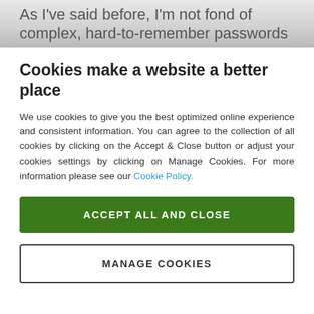As I've said before, I'm not fond of complex, hard-to-remember passwords
Cookies make a website a better place
We use cookies to give you the best optimized online experience and consistent information. You can agree to the collection of all cookies by clicking on the Accept & Close button or adjust your cookies settings by clicking on Manage Cookies. For more information please see our Cookie Policy.
ACCEPT ALL AND CLOSE
MANAGE COOKIES